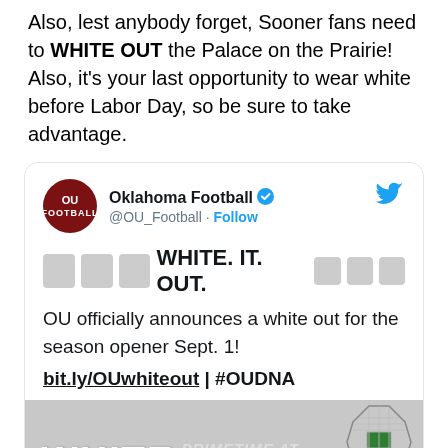Also, lest anybody forget, Sooner fans need to WHITE OUT the Palace on the Prairie! Also, it's your last opportunity to wear white before Labor Day, so be sure to take advantage.
[Figure (screenshot): Embedded tweet from Oklahoma Football (@OU_Football) announcing a white out for the season opener Sept. 1. Tweet reads: WHITE. IT. OUT. OU officially announces a white out for the season opener Sept. 1! bit.ly/OUwhiteout | #OUDNA. Includes a promotional image with the word WHITE and stadium seating diagram.]